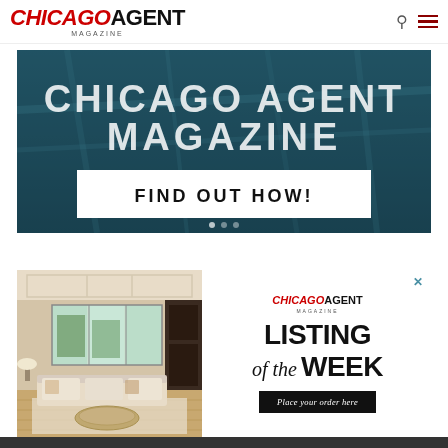CHICAGO AGENT MAGAZINE
[Figure (screenshot): Chicago Agent Magazine banner advertisement with aerial city view background, showing 'CHICAGO AGENT MAGAZINE' text and a 'FIND OUT HOW!' button]
[Figure (photo): Interior living room photo showing elegant cream and beige decor with coffered ceiling, large windows, sofa and coffee table]
[Figure (other): Chicago Agent Magazine 'Listing of the Week' advertisement panel with logo, title text and 'Place your order here' button]